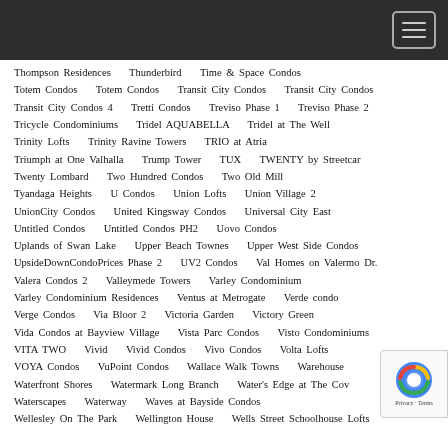Navigation header bar with hamburger menu
Thompson Residences
Thunderbird
Time & Space Condos
Totem Condos
Totem Condos
Transit City Condos
Transit City Condos
Transit City Condos 4
Tretti Condos
Treviso Phase 1
Treviso Phase 2
Tricycle Condominiums
Tridel AQUABELLA
Tridel at The Well
Trinity Lofts
Trinity Ravine Towers
TRIO at Atria
Triumph at One Valhalla
Trump Tower
TUX
TWENTY by Streetcar
Twenty Lombard
Two Hundred Condos
Two Old Mill
Tyandaga Heights
U Condos
Union Lofts
Union Village 2
UnionCity Condos
United Kingsway Condos
Universal City East
Untitled Condos
Untitled Condos PH2
Uovo Condos
Uplands of Swan Lake
Upper Beach Townes
Upper West Side Condos
UpsideDownCondoPrices Phase 2
UV2 Condos
Val Homes on Valermo Dr.
Valera Condos 2
Valleymede Towers
Varley Condominium
Varley Condominium Residences
Ventus at Metrogate
Verde condo
Verge Condos
Via Bloor 2
Victoria Garden
Victory Green
Vida Condos at Bayview Village
Vista Parc Condos
Visto Condominiums
VITA TWO
Vivid
Vivid Condos
Vivo Condos
Volta Lofts
VOYA Condos
VuPoint Condos
Wallace Walk Towns
Warehouse...
Waterfront Shores
Watermark Long Branch
Water's Edge at The Cov...
Waterscapes
Waterway
Waves at Bayside Condos
Wellesley On The Park
Wellington House
Wells Street Schoolhouse Lofts